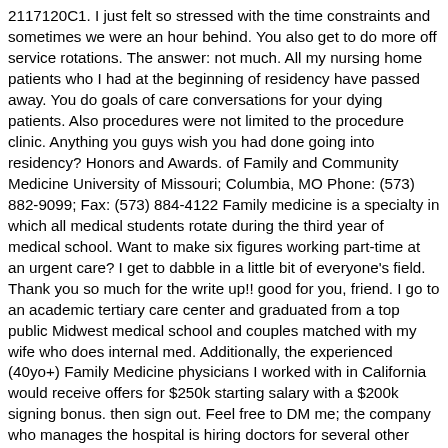2117120C1. I just felt so stressed with the time constraints and sometimes we were an hour behind. You also get to do more off service rotations. The answer: not much. All my nursing home patients who I had at the beginning of residency have passed away. You do goals of care conversations for your dying patients. Also procedures were not limited to the procedure clinic. Anything you guys wish you had done going into residency? Honors and Awards. of Family and Community Medicine University of Missouri; Columbia, MO Phone: (573) 882-9099; Fax: (573) 884-4122 Family medicine is a specialty in which all medical students rotate during the third year of medical school. Want to make six figures working part-time at an urgent care? I get to dabble in a little bit of everyone's field. Thank you so much for the write up!! good for you, friend. I go to an academic tertiary care center and graduated from a top public Midwest medical school and couples matched with my wife who does internal med. Additionally, the experienced (40yo+) Family Medicine physicians I worked with in California would receive offers for $250k starting salary with a $200k signing bonus. then sign out. Feel free to DM me; the company who manages the hospital is hiring doctors for several other small hospitals in Texas. What do u think about churning through 15 minute visits??? Crozer Health Medical Group (CHMG) Sorry for the rambling. Specialty* Sort By* Location By Region By State. Corporate Citizenship. List Map Favorites NEW. Welcome to the Advocate Illinois Masonic Family Medicine Residency. All U.S. Northeast South Midwest West. For the right person, a family…